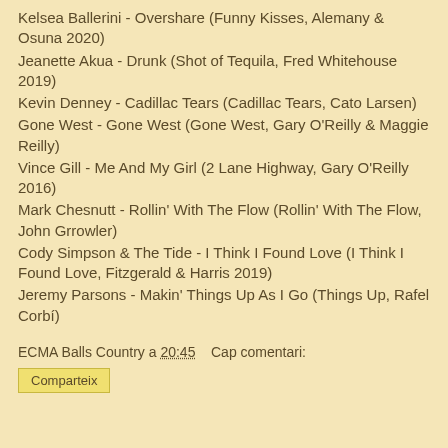Kelsea Ballerini - Overshare (Funny Kisses, Alemany & Osuna 2020)
Jeanette Akua - Drunk (Shot of Tequila, Fred Whitehouse 2019)
Kevin Denney - Cadillac Tears (Cadillac Tears, Cato Larsen)
Gone West - Gone West (Gone West, Gary O'Reilly & Maggie Reilly)
Vince Gill - Me And My Girl (2 Lane Highway, Gary O'Reilly 2016)
Mark Chesnutt - Rollin' With The Flow (Rollin' With The Flow, John Grrowler)
Cody Simpson & The Tide - I Think I Found Love (I Think I Found Love, Fitzgerald & Harris 2019)
Jeremy Parsons - Makin' Things Up As I Go (Things Up, Rafel Corbí)
ECMA Balls Country a 20:45    Cap comentari:
Comparteix